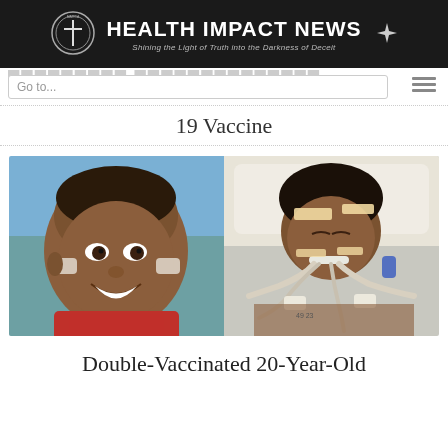HEALTH IMPACT NEWS — Shining the Light of Truth into the Darkness of Deceit
19 Vaccine
[Figure (photo): Two side-by-side photos: left shows a smiling young child with medical patches on cheeks; right shows the same person in a hospital bed with breathing tubes and medical equipment attached.]
Double-Vaccinated 20-Year-Old